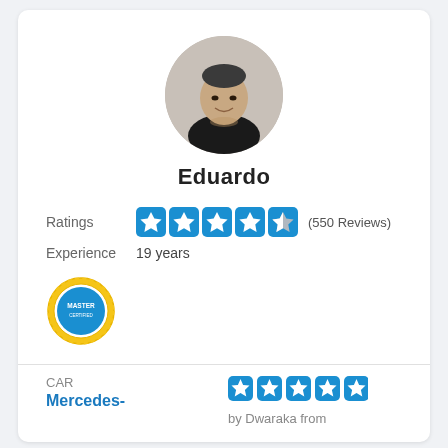[Figure (photo): Circular profile photo of Eduardo, a man wearing a black shirt, light background]
Eduardo
Ratings  ★★★★½ (550 Reviews)
Experience  19 years
[Figure (logo): Master badge/seal — circular gold and blue badge with text MASTER]
CAR
Mercedes-
[Figure (other): Five blue star rating icons]
by Dwaraka from